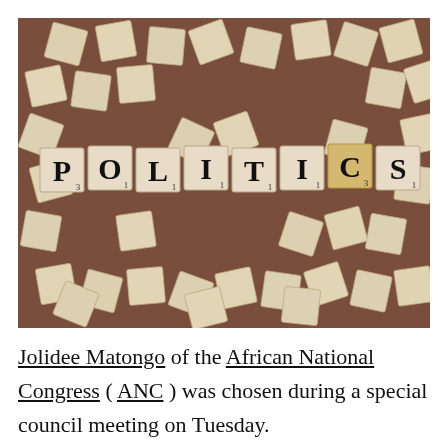[Figure (photo): Scrabble tiles spelling out POLITICS on a brown wooden surface, surrounded by scattered face-down wooden tiles]
Jolidee Matongo of the African National Congress ( ANC ) was chosen during a special council meeting on Tuesday.